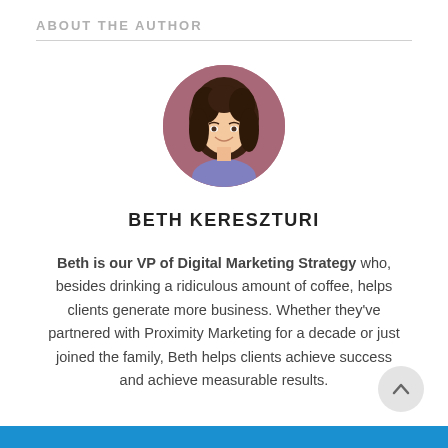ABOUT THE AUTHOR
[Figure (photo): Circular headshot photo of Beth Kereszturi, a woman with curly brown hair, smiling, against a reddish/mauve background.]
BETH KERESZTURI
Beth is our VP of Digital Marketing Strategy who, besides drinking a ridiculous amount of coffee, helps clients generate more business. Whether they've partnered with Proximity Marketing for a decade or just joined the family, Beth helps clients achieve success and achieve measurable results.